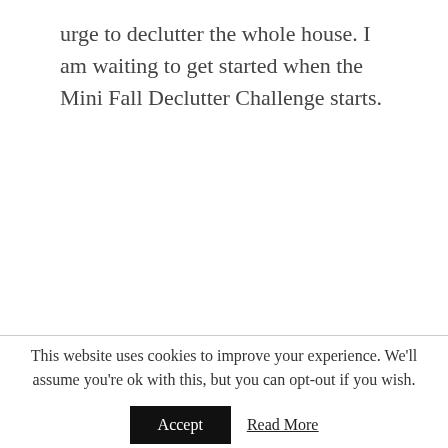urge to declutter the whole house. I am waiting to get started when the Mini Fall Declutter Challenge starts.
This website uses cookies to improve your experience. We'll assume you're ok with this, but you can opt-out if you wish.
Accept  Read More